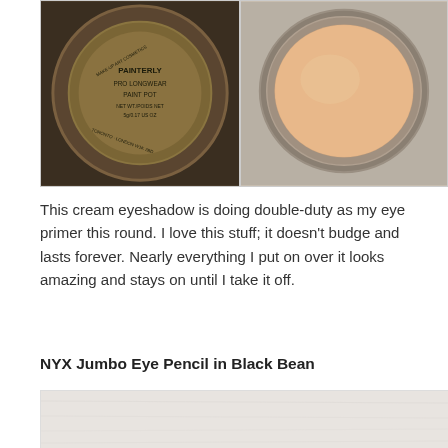[Figure (photo): Two photos side by side: left shows the bottom of a MAC Painterly Pro Longwear Paint Pot with label text, right shows the open top view of the same cream eyeshadow pot showing the peach/nude product inside.]
This cream eyeshadow is doing double-duty as my eye primer this round. I love this stuff; it doesn't budge and lasts forever. Nearly everything I put on over it looks amazing and stays on until I take it off.
NYX Jumbo Eye Pencil in Black Bean
[Figure (photo): Partial photo of what appears to be a light-colored background with the NYX Jumbo Eye Pencil product, mostly cut off at the bottom of the page.]